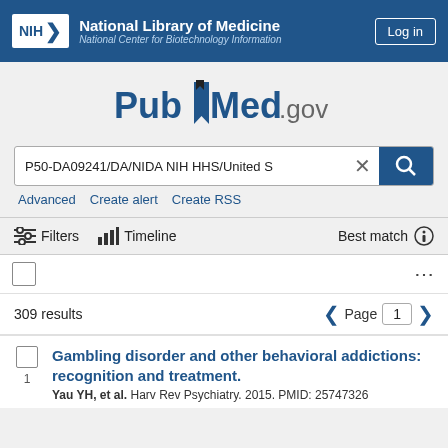NIH National Library of Medicine – National Center for Biotechnology Information | Log in
[Figure (logo): PubMed.gov logo with bookmark icon]
P50-DA09241/DA/NIDA NIH HHS/United S
Advanced   Create alert   Create RSS
Filters   Timeline   Best match
309 results   Page 1
Gambling disorder and other behavioral addictions: recognition and treatment.
Yau YH, et al. Harv Rev Psychiatry. 2015. PMID: 25747326